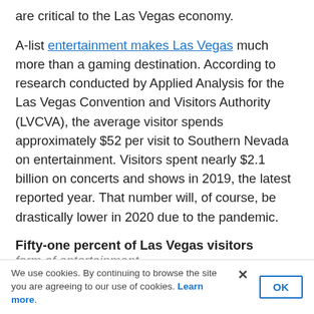are critical to the Las Vegas economy.
A-list entertainment makes Las Vegas much more than a gaming destination. According to research conducted by Applied Analysis for the Las Vegas Convention and Visitors Authority (LVCVA), the average visitor spends approximately $52 per visit to Southern Nevada on entertainment. Visitors spent nearly $2.1 billion on concerts and shows in 2019, the latest reported year. That number will, of course, be drastically lower in 2020 due to the pandemic.
Fifty-one percent of Las Vegas visitors attended a show in 2019. That was down seven percent from the previous year, and 10 percent from 2015. Acts classified as “production/Broadway shows” were the most common
form of entertainment
We use cookies. By continuing to browse the site you are agreeing to our use of cookies. Learn more.